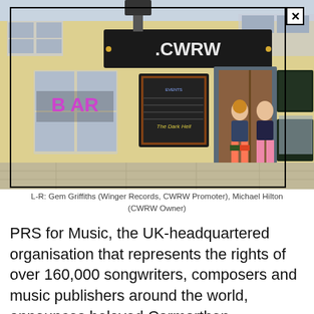[Figure (photo): Two men standing in the doorway of a bar called CWRW. The building has a yellow facade with a dark sign reading '.CWRW' above the entrance. Signs for 'BAR' are visible in the window on the left. Various chalkboard signs are placed around the entrance.]
L-R: Gem Griffiths (Winger Records, CWRW Promoter), Michael Hilton (CWRW Owner)
PRS for Music, the UK-headquartered organisation that represents the rights of over 160,000 songwriters, composers and music publishers around the world, announces beloved Carmarthen grassroots music bar CWRW (pronounced koo-roo) as the winner of its Back to